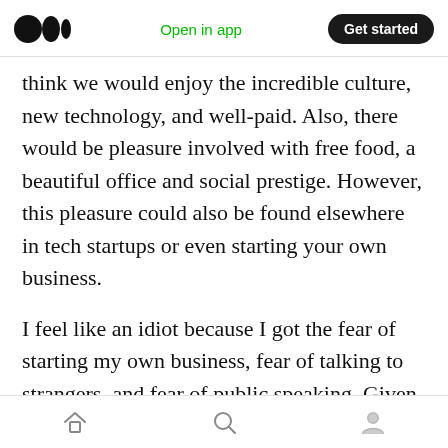Medium logo | Open in app | Get started
think we would enjoy the incredible culture, new technology, and well-paid. Also, there would be pleasure involved with free food, a beautiful office and social prestige. However, this pleasure could also be found elsewhere in tech startups or even starting your own business.
I feel like an idiot because I got the fear of starting my own business, fear of talking to strangers, and fear of public speaking. Given how much pain and sorrow it has caused me and how hard it has been to try to realise it, one ambition I might quietly learn to surrender is to be the
Home | Search | Profile